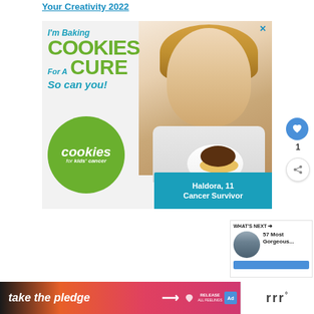Your Creativity 2022
[Figure (advertisement): Cookies for Kids' Cancer advertisement. Text reads: I'm Baking COOKIES For A CURE So can you! Green circle with 'cookies for kids' cancer' logo. Teal banner with 'Haldora, 11 Cancer Survivor'. Photo of a young blonde girl holding a plate of cookies. Close button (x) in top right.]
[Figure (infographic): Like button (blue circle with heart icon) with count of 1 below, and share button below that.]
[Figure (screenshot): What's Next panel showing thumbnail image and text '57 Most Gorgeous...' with a blue progress bar below.]
[Figure (advertisement): Bottom banner ad: 'take the pledge' with arrow, RELEASE logo, ad badge icon. Right side shows 'rrr' logo with superscript dot.]